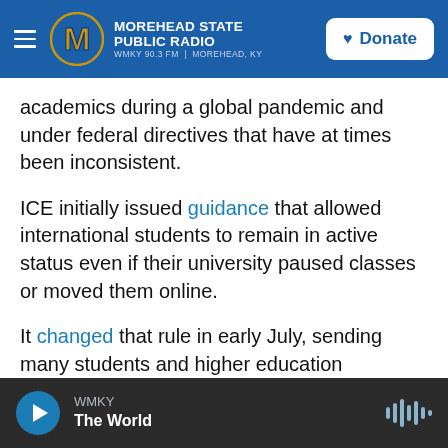Morehead State Public Radio — WMKY 90.3 FM | Morehead, KY — Donate
academics during a global pandemic and under federal directives that have at times been inconsistent.
ICE initially issued guidance that allowed international students to remain in active status even if their university paused classes or moved them online.
It changed that rule in early July, sending many students and higher education institutions scrambling.
WMKY — The World